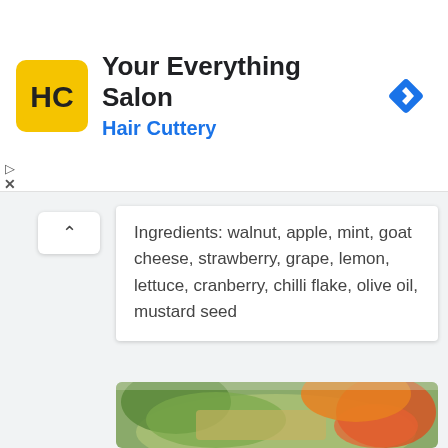[Figure (logo): Hair Cuttery ad banner with HC logo on yellow background, title 'Your Everything Salon', subtitle 'Hair Cuttery' in blue, and a blue navigation diamond icon on the right]
Ingredients: walnut, apple, mint, goat cheese, strawberry, grape, lemon, lettuce, cranberry, chilli flake, olive oil, mustard seed
[Figure (photo): A bowl of grain salad with chopped green vegetables, apple chunks, and orange slices on top, shot close-up on a light background]